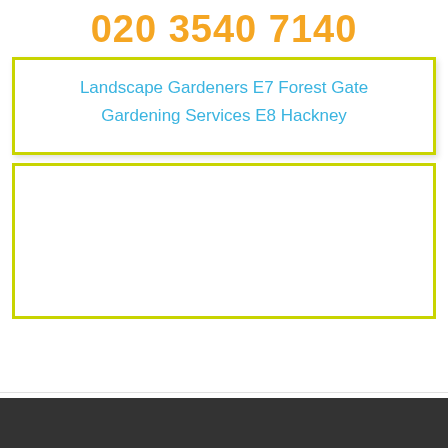020 3540 7140
Landscape Gardeners E7 Forest Gate
Gardening Services E8 Hackney